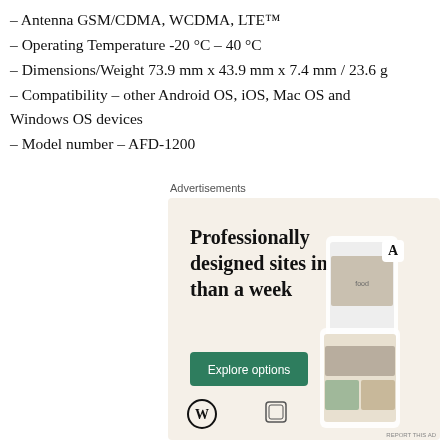– Antenna GSM/CDMA, WCDMA, LTE™
– Operating Temperature -20 °C – 40 °C
– Dimensions/Weight 73.9 mm x 43.9 mm x 7.4 mm / 23.6 g
– Compatibility – other Android OS, iOS, Mac OS and Windows OS devices
– Model number – AFD-1200
Advertisements
[Figure (illustration): WordPress advertisement banner with beige background showing 'Professionally designed sites in less than a week' headline, green 'Explore options' button, WordPress logo, and decorative website/app screenshots on the right side.]